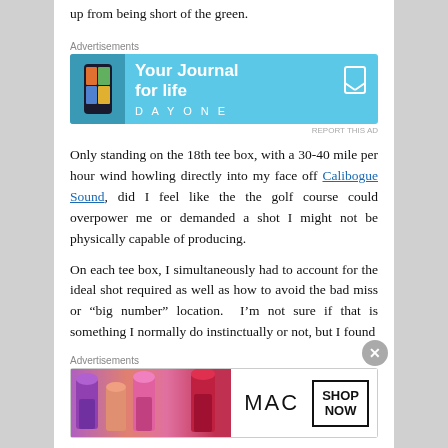up from being short of the green.
Advertisements
[Figure (screenshot): DayOne app advertisement banner: light blue background with phone graphic on left, text 'Your Journal for life' and 'DAYONE' logo with bookmark icon on right]
Only standing on the 18th tee box, with a 30-40 mile per hour wind howling directly into my face off Calibogue Sound, did I feel like the the golf course could overpower me or demanded a shot I might not be physically capable of producing.
On each tee box, I simultaneously had to account for the ideal shot required as well as how to avoid the bad miss or “big number” location.  I’m not sure if that is something I normally do instinctually or not, but I found
Advertisements
[Figure (screenshot): MAC Cosmetics advertisement banner: lipsticks on left side, MAC logo in center, SHOP NOW button on right]